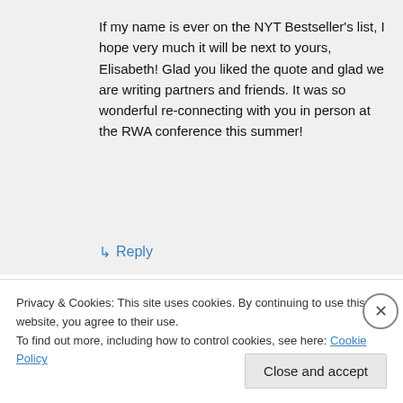If my name is ever on the NYT Bestseller's list, I hope very much it will be next to yours, Elisabeth! Glad you liked the quote and glad we are writing partners and friends. It was so wonderful re-connecting with you in person at the RWA conference this summer!
↳ Reply
[Figure (screenshot): Green banner with bold italic white text reading 'plugin']
Privacy & Cookies: This site uses cookies. By continuing to use this website, you agree to their use. To find out more, including how to control cookies, see here: Cookie Policy
Close and accept